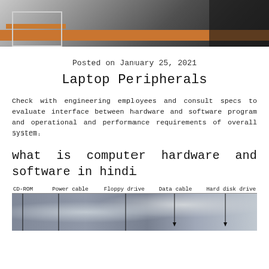[Figure (photo): Top portion of a desk/office setup photo with orange table surface and dark background]
Posted on January 25, 2021
Laptop Peripherals
Check with engineering employees and consult specs to evaluate interface between hardware and software program and operational and performance requirements of overall system.
what is computer hardware and software in hindi
[Figure (photo): Labeled photo of computer hardware components inside a PC case showing CD-ROM, Power cable, Floppy drive, Data cable, and Hard disk drive with annotation arrows]